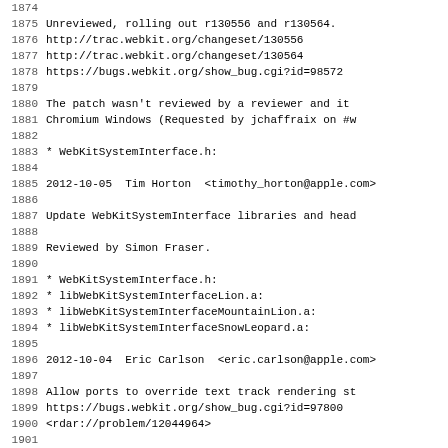Source code changelog / commit log lines 1875-1906 showing WebKit commits
1875: Unreviewed, rolling out r130556 and r130564.
1876: http://trac.webkit.org/changeset/130556
1877: http://trac.webkit.org/changeset/130564
1878: https://bugs.webkit.org/show_bug.cgi?id=98572
1880: The patch wasn't reviewed by a reviewer and it
1881: Chromium Windows (Requested by jchaffraix on #w
1883: * WebKitSystemInterface.h:
1885: 2012-10-05  Tim Horton  <timothy_horton@apple.com>
1887: Update WebKitSystemInterface libraries and head
1889: Reviewed by Simon Fraser.
1891: * WebKitSystemInterface.h:
1892: * libWebKitSystemInterfaceLion.a:
1893: * libWebKitSystemInterfaceMountainLion.a:
1894: * libWebKitSystemInterfaceSnowLeopard.a:
1896: 2012-10-04  Eric Carlson  <eric.carlson@apple.com>
1898: Allow ports to override text track rendering st
1899: https://bugs.webkit.org/show_bug.cgi?id=97800
1900: <rdar://problem/12044964>
1902: Reviewed by Silvia Pfeiffer.
1904: Update WKSI header with SPI for getting the use
1906: * WebKitSystemInterface.h: